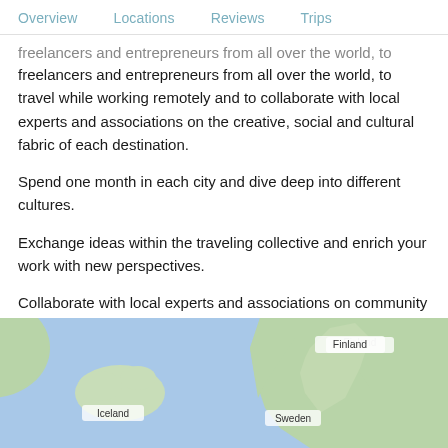Overview   Locations   Reviews   Trips
freelancers and entrepreneurs from all over the world, to travel while working remotely and to collaborate with local experts and associations on the creative, social and cultural fabric of each destination.
Spend one month in each city and dive deep into different cultures.
Exchange ideas within the traveling collective and enrich your work with new perspectives.
Collaborate with local experts and associations on community social impact.
[Figure (map): Map showing northern Europe including Iceland, Sweden, and Finland on a Google Maps style background with blue ocean and green landmasses.]